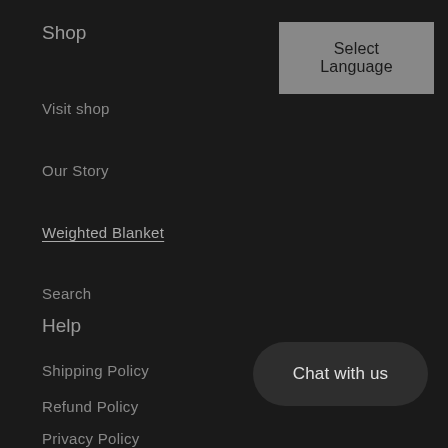Shop
[Figure (screenshot): Select Language button in gray]
Visit shop
Our Story
Weighted Blanket
Search
Help
Shipping Policy
Refund Policy
[Figure (screenshot): Chat with us button]
Privacy Policy